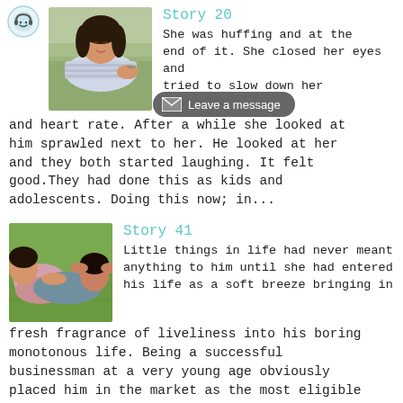[Figure (photo): Circular emoji/avatar icon with headphones at top left]
Story 20
[Figure (photo): Young woman lying down, eyes closed, resting on a hammock or outdoors, wearing striped top]
She was huffing and blowing and at the end of it. She closed her eyes and tried to slow down her breathing and heart rate. After a while she looked at him sprawled next to her. He looked at her and they both started laughing. It felt good.They had done this as kids and adolescents. Doing this now; in...
[Figure (screenshot): Leave a message overlay button with envelope icon]
Story 41
[Figure (photo): Couple lying on grass, man with hands behind head, woman resting on him]
Little things in life had never meant anything to him until she had entered his life as a soft breeze bringing in fresh fragrance of liveliness into his boring monotonous life. Being a successful businessman at a very young age obviously placed him in the market as the most eligible bachelor. He...